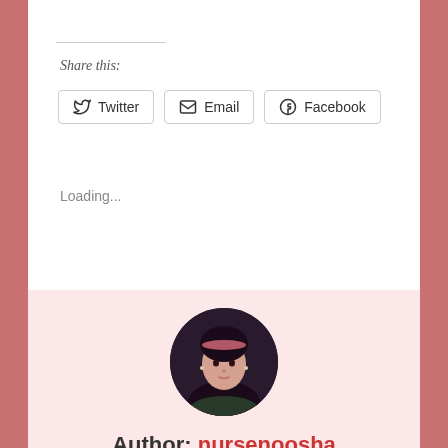Share this:
Twitter  Email  Facebook
Loading...
[Figure (photo): Circular profile photo of a woman with dark hair and a pink headband, looking at the camera]
Author: nursenoosha
Hi my name is Noosha, I'm a Registered Nurse working in a busy major teaching and trauma hospital